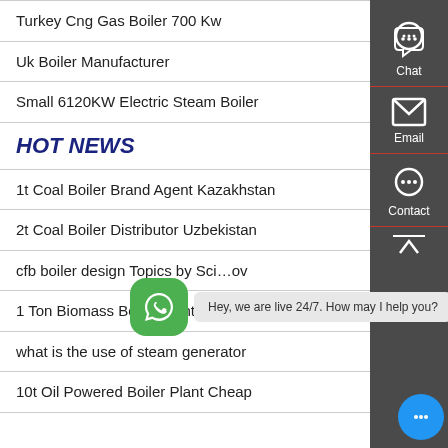Turkey Cng Gas Boiler 700 Kw
Uk Boiler Manufacturer
Small 6120KW Electric Steam Boiler
HOT NEWS
1t Coal Boiler Brand Agent Kazakhstan
2t Coal Boiler Distributor Uzbekistan
cfb boiler design Topics by Sci…ov
1 Ton Biomass Boiler Plant Dealer Ukraine
what is the use of steam generator
10t Oil Powered Boiler Plant Cheap
[Figure (screenshot): WhatsApp contact button with green icon and bubble saying 'Hey, we are live 24/7. How may I help you?']
[Figure (infographic): Right sidebar with Chat, Email, Contact icons on dark grey background]